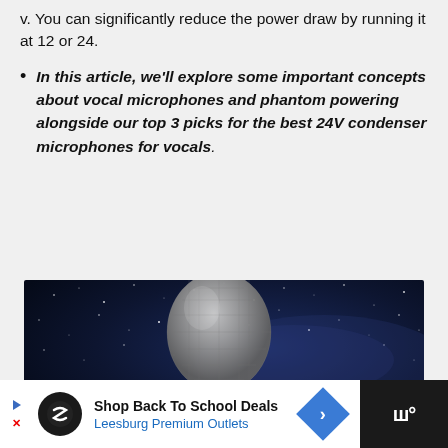v. You can significantly reduce the power draw by running it at 12 or 24.
In this article, we'll explore some important concepts about vocal microphones and phantom powering alongside our top 3 picks for the best 24V condenser microphones for vocals.
[Figure (photo): A gold microphone against a dark blue starry night sky background]
Shop Back To School Deals Leesburg Premium Outlets